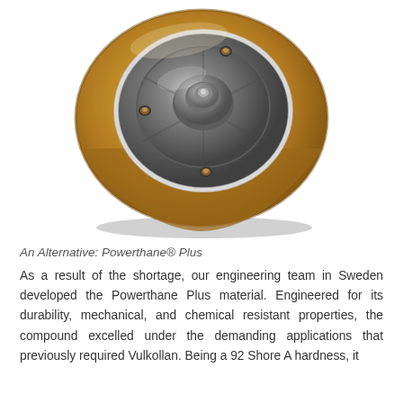[Figure (photo): A polyurethane-coated industrial wheel with an aluminum/steel hub, viewed from a slight angle showing the face with a central bearing housing, bolt holes, and a tan/amber colored polyurethane tire tread around the perimeter.]
An Alternative: Powerthane® Plus
As a result of the shortage, our engineering team in Sweden developed the Powerthane Plus material. Engineered for its durability, mechanical, and chemical resistant properties, the compound excelled under the demanding applications that previously required Vulkollan. Being a 92 Shore A hardness, it